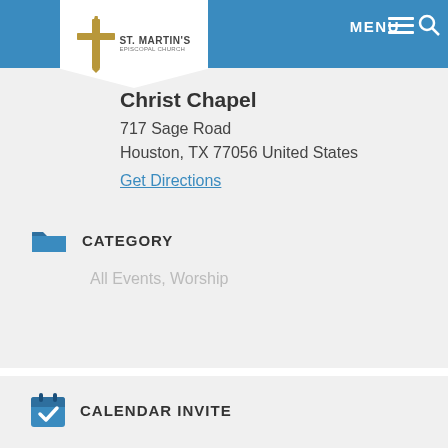[Figure (logo): St. Martin's Episcopal Church logo with gold cross and text]
MENU
Christ Chapel
717 Sage Road
Houston, TX 77056 United States
Get Directions
CATEGORY
All Events, Worship
CALENDAR INVITE